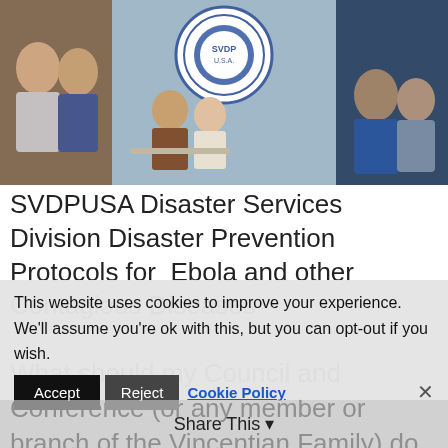[Figure (photo): Collage of SVDPUSA volunteers and staff with organization logos (Society of St. Vincent de Paul USA)]
SVDPUSA Disaster Services Division Disaster Prevention Protocols for Ebola and other Contagious Diseases
What should my Council and Conference (or any member or branch of the Vincentian Family) do to protect our staff and volunteers? (Information contained below is from the Centers for Disease Control and Prevention [CDC] website...
This website uses cookies to improve your experience. We'll assume you're ok with this, but you can opt-out if you wish.
Accept   Reject   Cookie Policy   Share This   ✕